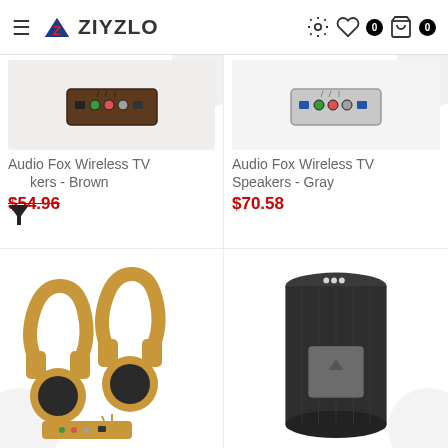ZIYZLO
[Figure (photo): Audio Fox Wireless TV Speaker box - Brown color, small rectangular device with colored audio ports]
Audio Fox Wireless TV Speakers - Brown
$54.96
[Figure (photo): Audio Fox Wireless TV Speaker box - Gray color, small rectangular device with colored audio ports]
Audio Fox Wireless TV Speakers - Gray
$70.58
[Figure (photo): Two tan/beige wireless headphones with a base transmitter unit]
[Figure (photo): Black cylindrical fabric wireless speaker with a control button panel]